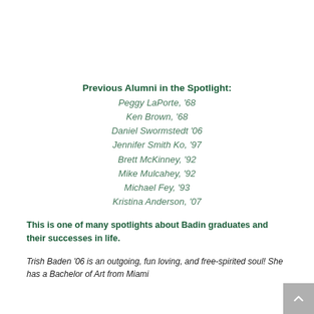Previous Alumni in the Spotlight:
Peggy LaPorte, '68
Ken Brown, '68
Daniel Swormstedt '06
Jennifer Smith Ko, '97
Brett McKinney, '92
Mike Mulcahey, '92
Michael Fey, '93
Kristina Anderson, '07
This is one of many spotlights about Badin graduates and their successes in life.
Trish Baden '06 is an outgoing, fun loving, and free-spirited soul! She has a Bachelor of Art from Miami